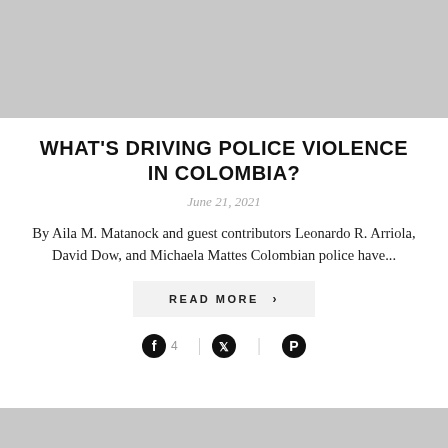[Figure (photo): Gray placeholder image at top of page]
WHAT'S DRIVING POLICE VIOLENCE IN COLOMBIA?
June 21, 2021
By Aila M. Matanock and guest contributors Leonardo R. Arriola, David Dow, and Michaela Mattes Colombian police have...
READ MORE >
[Figure (infographic): Social share icons: Facebook with count 4, Twitter, Pinterest]
[Figure (photo): Gray placeholder image at bottom of page]